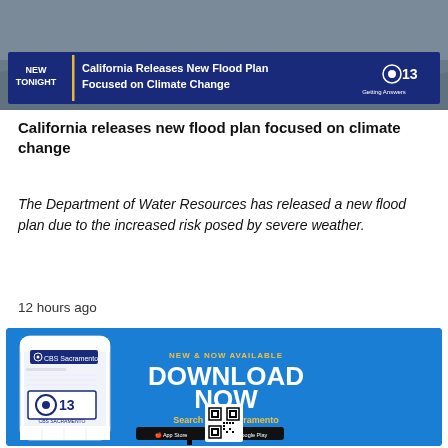[Figure (screenshot): CBS13 news broadcast screenshot showing banner: 'NEW TONIGHT | California Releases New Flood Plan Focused on Climate Change' with CBS 13 logo]
California releases new flood plan focused on climate change
The Department of Water Resources has released a new flood plan due to the increased risk posed by severe weather.
12 hours ago
[Figure (screenshot): CBS Sacramento app advertisement on blue background with phone mockup, CBS13 logo, 'NEW & NOW AVAILABLE DOWNLOAD NOW Search CBS Sacramento' with App Store and Google Play buttons and QR code]